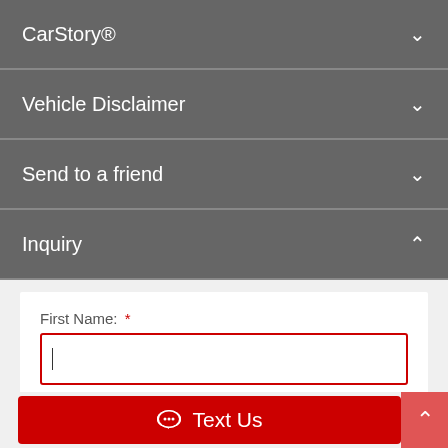CarStory®
Vehicle Disclaimer
Send to a friend
Inquiry
First Name: *
Last Name: *
Email: *
example@example.com
Text Us